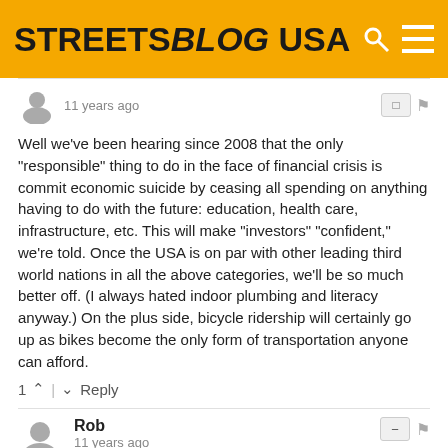STREETSBLOG USA
11 years ago
Well we've been hearing since 2008 that the only "responsible" thing to do in the face of financial crisis is commit economic suicide by ceasing all spending on anything having to do with the future: education, health care, infrastructure, etc. This will make "investors" "confident," we're told. Once the USA is on par with other leading third world nations in all the above categories, we'll be so much better off. (I always hated indoor plumbing and literacy anyway.) On the plus side, bicycle ridership will certainly go up as bikes become the only form of transportation anyone can afford.
1 | Reply
Rob
11 years ago
"They've also cut $3.1 billion in highway contract authority . . ." That isn't a budget cut, but rather a recission. So the story is ZERO cut from highways and $502M from the New Starts